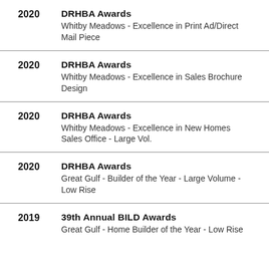2020 DRHBA Awards — Whitby Meadows - Excellence in Print Ad/Direct Mail Piece
2020 DRHBA Awards — Whitby Meadows - Excellence in Sales Brochure Design
2020 DRHBA Awards — Whitby Meadows - Excellence in New Homes Sales Office - Large Vol.
2020 DRHBA Awards — Great Gulf - Builder of the Year - Large Volume - Low Rise
2019 39th Annual BILD Awards — Great Gulf - Home Builder of the Year - Low Rise